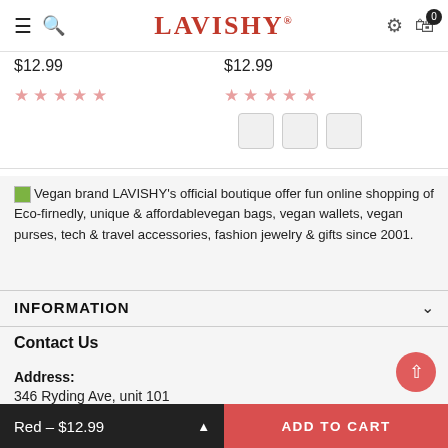LAVISHY®
$12.99   $12.99
[Figure (other): Five empty star ratings (two sets), one for each product]
[Figure (other): Three color swatch boxes (gray/white) for product color selection]
Vegan brand LAVISHY's official boutique offer fun online shopping of Eco-firnedly, unique & affordablevegan bags, vegan wallets, vegan purses, tech & travel accessories, fashion jewelry & gifts since 2001.
INFORMATION
Contact Us
Address: 346 Ryding Ave, unit 101